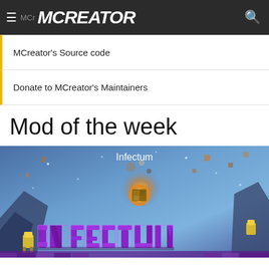MCreator
MCreator's Source code
Donate to MCreator's Maintainers
Mod of the week
[Figure (screenshot): Infectum mod promotional image showing Minecraft-style scene with purple INFECTUM text logo, floating blocks, glowing meteor/fireball, and stylized characters on a blue background. Caption 'Infectum' appears at the top of the image.]